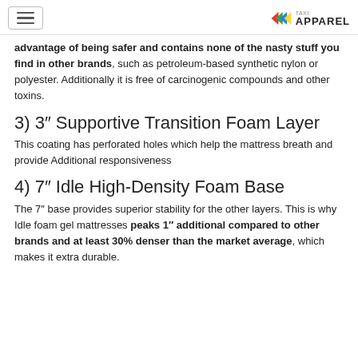[hamburger menu] [TAXI APPAREL logo]
advantage of being safer and contains none of the nasty stuff you find in other brands, such as petroleum-based synthetic nylon or polyester. Additionally it is free of carcinogenic compounds and other toxins.
3) 3″ Supportive Transition Foam Layer
This coating has perforated holes which help the mattress breath and provide Additional responsiveness
4) 7″ Idle High-Density Foam Base
The 7″ base provides superior stability for the other layers. This is why Idle foam gel mattresses peaks 1″ additional compared to other brands and at least 30% denser than the market average, which makes it extra durable.